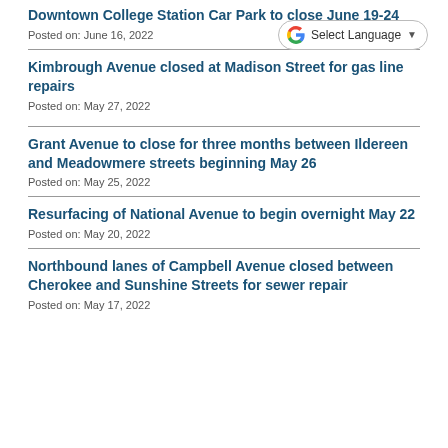Downtown College Station Car Park to close June 19-24
Posted on: June 16, 2022
Kimbrough Avenue closed at Madison Street for gas line repairs
Posted on: May 27, 2022
[Figure (other): Google Translate Select Language widget button with Google G logo and dropdown chevron]
Grant Avenue to close for three months between Ildereen and Meadowmere streets beginning May 26
Posted on: May 25, 2022
Resurfacing of National Avenue to begin overnight May 22
Posted on: May 20, 2022
Northbound lanes of Campbell Avenue closed between Cherokee and Sunshine Streets for sewer repair
Posted on: May 17, 2022